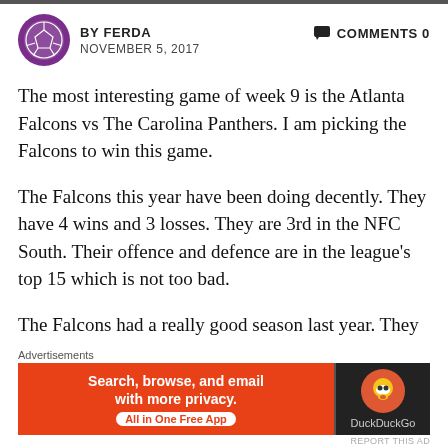BY FERDA   NOVEMBER 5, 2017   COMMENTS 0
The most interesting game of week 9 is the Atlanta Falcons vs The Carolina Panthers. I am picking the Falcons to win this game.
The Falcons this year have been doing decently. They have 4 wins and 3 losses. They are 3rd in the NFC South. Their offence and defence are in the league’s top 15 which is not too bad.
The Falcons had a really good season last year. They
[Figure (infographic): DuckDuckGo advertisement banner: orange left panel with text 'Search, browse, and email with more privacy. All in One Free App' and dark right panel with DuckDuckGo duck logo and brand name.]